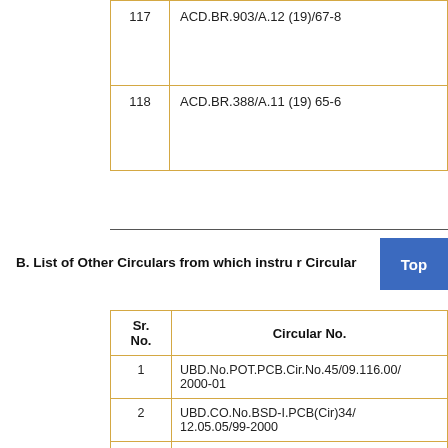| Sr. No. | Circular No. |
| --- | --- |
| 117 | ACD.BR.903/A.12 (19)/67-8 |
| 118 | ACD.BR.388/A.11 (19) 65-6 |
B. List of Other Circulars from which instructions have been consolidated in this Master Circular
| Sr. No. | Circular No. |
| --- | --- |
| 1 | UBD.No.POT.PCB.Cir.No.45/09.116.00/2000-01 |
| 2 | UBD.CO.No.BSD-I.PCB(Cir)34/12.05.05/99-2000 |
| 3 | UBD.No.BSD.PCB./25/12.05.05/99-2000 |